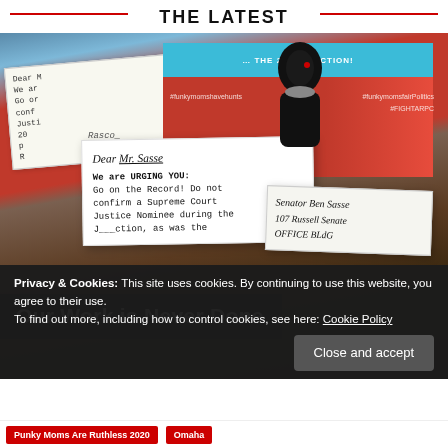THE LATEST
[Figure (photo): Photo of handwritten letters addressed to Senator Ben Sasse urging him not to confirm a Supreme Court Justice Nominee, with a red campaign card featuring a silhouette figure and hashtags, overlaid with the text 'Our Work is Never Done']
Privacy & Cookies: This site uses cookies. By continuing to use this website, you agree to their use.
To find out more, including how to control cookies, see here: Cookie Policy
Close and accept
Punky Moms Are Ruthless 2020
Omaha